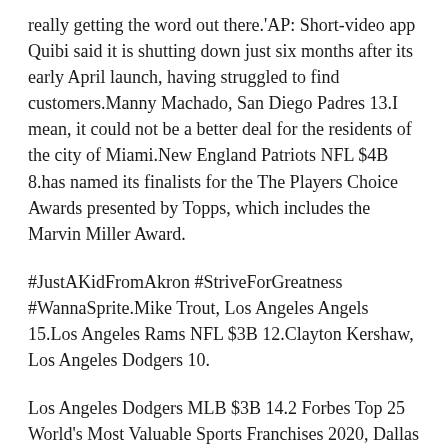really getting the word out there.'AP: Short-video app Quibi said it is shutting down just six months after its early April launch, having struggled to find customers.Manny Machado, San Diego Padres 13.I mean, it could not be a better deal for the residents of the city of Miami.New England Patriots NFL $4B 8.has named its finalists for the The Players Choice Awards presented by Topps, which includes the Marvin Miller Award.
#JustAKidFromAkron #StriveForGreatness #WannaSprite.Mike Trout, Los Angeles Angels 15.Los Angeles Rams NFL $3B 12.Clayton Kershaw, Los Angeles Dodgers 10.
Los Angeles Dodgers MLB $3B 14.2 Forbes Top 25 World's Most Valuable Sports Franchises 2020, Dallas Cowboys NFL $5B 2.Golden State Warriors NBA $4B 6.The humorous campaign we did with Bryan Cranston, where in the long-form version he performed a one-man play re-creating great